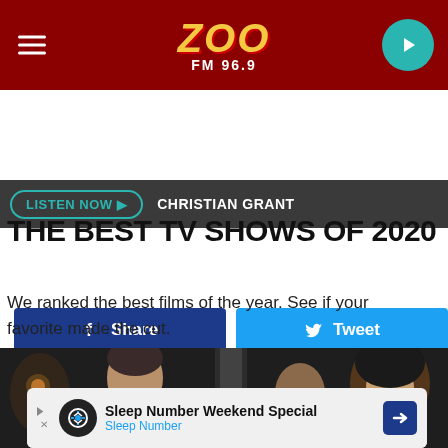[Figure (screenshot): ZOO FM 96.9 radio station website header with dark red background, logo in yellow italic text, hamburger menu on left, play button on right]
LISTEN NOW ▶  CHRISTIAN GRANT
[Figure (infographic): Facebook Share button (dark blue) and Twitter Tweet button (light blue) side by side]
THE BEST TV SHOWS OF 2020
We ranked the best films of the year. See if your favorite made the cut.
[Figure (photo): Three women in a dark scene, appears to be from a TV show]
Sleep Number Weekend Special Sleep Number